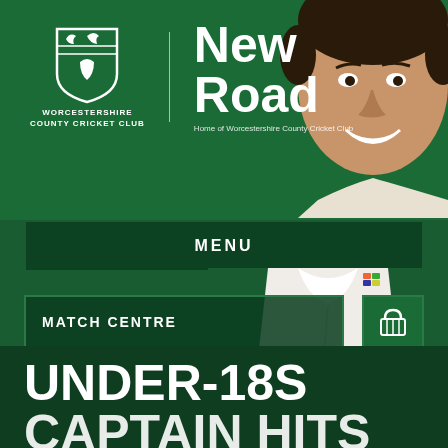[Figure (logo): Worcestershire County Cricket Club shield logo with text 'WORCESTERSHIRE COUNTY CRICKET CLUB' below, next to 'New Road - Home of Worcestershire County Cricket Club' text, and a smiling cricketer's face on the right]
MENU
MATCH CENTRE
FRIDAY, JUNE 18TH, 2021
UNDER-18S CAPTAIN HITS